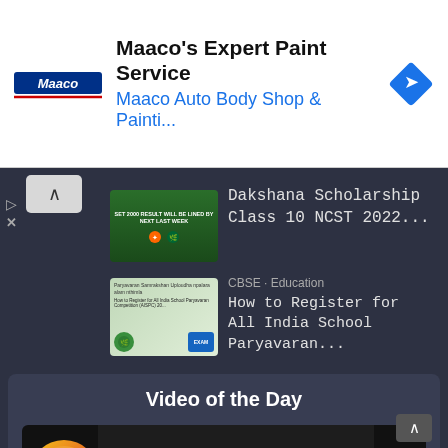[Figure (screenshot): Maaco advertisement banner with logo, title 'Maaco's Expert Paint Service', subtitle 'Maaco Auto Body Shop & Painti...', and a blue diamond navigation icon]
[Figure (screenshot): Thumbnail for Dakshana Scholarship article with green background and text]
Dakshana Scholarship Class 10 NCST 2022...
[Figure (screenshot): Thumbnail for CBSE All India School Paryavaran article showing green environment poster]
CBSE · Education
How to Register for All India School Paryavaran...
Video of the Day
[Figure (screenshot): Video thumbnail showing 'Earn Money Via Blog W...' with circular avatar, title text and 'Website' label]